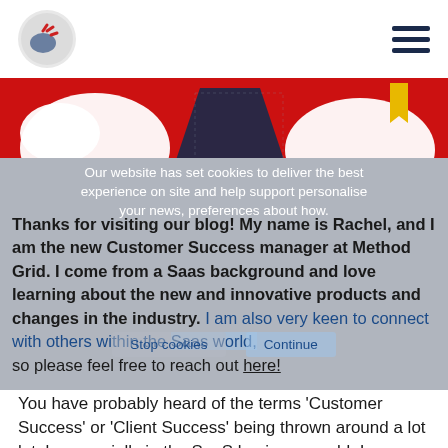[Figure (logo): Method Grid logo — circular icon with red/blue/grey abstract shapes, hamburger menu icon top right]
[Figure (illustration): Red banner hero image with white cloud/speech bubble shapes and a navy/gold ribbon/badge element]
Our website has set cookies to deliver the best experience on site and help support personalise your news, preferences about how.
Stop cookies    Continue
Thanks for visiting our blog! My name is Rachel, and I am the new Customer Success manager at Method Grid. I come from a Saas background and love learning about the new and innovative products and changes in the industry. I am also very keen to connect with others within the Saas world, so please feel free to reach out here!
You have probably heard of the terms 'Customer Success' or 'Client Success' being thrown around a lot lately, especially in the SaaS business world. In